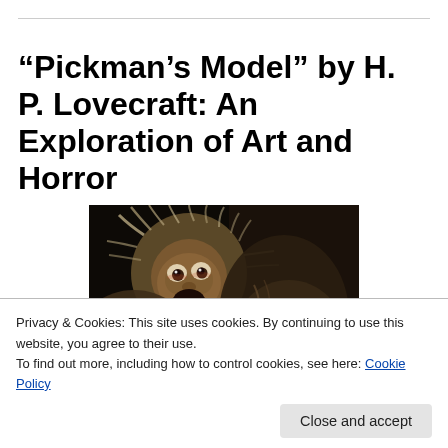“Pickman’s Model” by H. P. Lovecraft: An Exploration of Art and Horror
[Figure (photo): Francisco Goya's painting 'Saturn Devouring His Son' showing a wild-eyed monstrous figure with grey hair consuming a human body with blood, dark background.]
Privacy & Cookies: This site uses cookies. By continuing to use this website, you agree to their use.
To find out more, including how to control cookies, see here: Cookie Policy
Close and accept